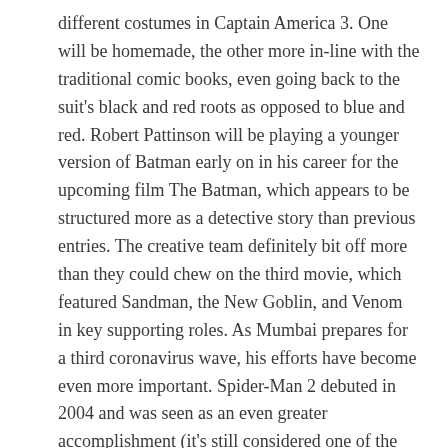different costumes in Captain America 3. One will be homemade, the other more in-line with the traditional comic books, even going back to the suit's black and red roots as opposed to blue and red. Robert Pattinson will be playing a younger version of Batman early on in his career for the upcoming film The Batman, which appears to be structured more as a detective story than previous entries. The creative team definitely bit off more than they could chew on the third movie, which featured Sandman, the New Goblin, and Venom in key supporting roles. As Mumbai prepares for a third coronavirus wave, his efforts have become even more important. Spider-Man 2 debuted in 2004 and was seen as an even greater accomplishment (it's still considered one of the best comic book movies ever made), though 2007's Spider-Man 3 was definitely a step below in quality.